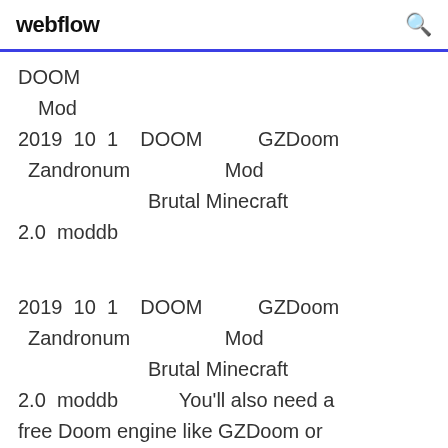webflow
DOOM Mod 2019 10 1 DOOM GZDoom Zandronum Mod Brutal Minecraft 2.0 moddb
2019 10 1 DOOM GZDoom Zandronum Mod Brutal Minecraft 2.0 moddb You'll also need a free Doom engine like GZDoom or Zandronum to run it. The mod brings some of Brutal You can check out Brutal Doom on ModDB, and download Meatgrinder Co-Op mod on that